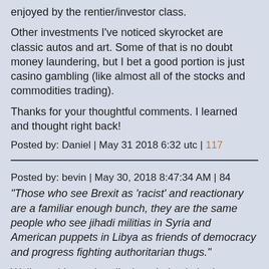enjoyed by the rentier/investor class.
Other investments I've noticed skyrocket are classic autos and art. Some of that is no doubt money laundering, but I bet a good portion is just casino gambling (like almost all of the stocks and commodities trading).
Thanks for your thoughtful comments. I learned and thought right back!
Posted by: Daniel | May 31 2018 6:32 utc | 117
Posted by: bevin | May 30, 2018 8:47:34 AM | 84
"Those who see Brexit as 'racist' and reactionary are a familiar enough bunch, they are the same people who see jihadi militias in Syria and American puppets in Libya as friends of democracy and progress fighting authoritarian thugs."
Well now I know. I really thought bevin had some sort of ethical humanism about him but now I see that when push comes to shove, and bevin cannot find any factual support for his contentions he simply smears by ad hominem.
bevin you live in england and KNOW that the vast majority of the pre brexit marketing from the likes of UKIP and Aaron whatshisface was racist and crudely nationalist in its intent and that the majority of people who voted for brexit were old